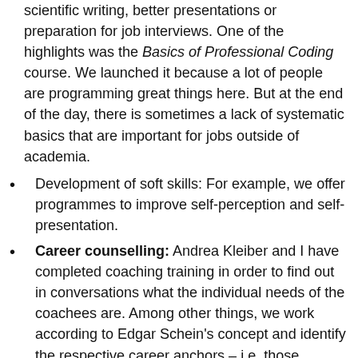scientific writing, better presentations or preparation for job interviews. One of the highlights was the Basics of Professional Coding course. We launched it because a lot of people are programming great things here. But at the end of the day, there is sometimes a lack of systematic basics that are important for jobs outside of academia.
Development of soft skills: For example, we offer programmes to improve self-perception and self-presentation.
Career counselling: Andrea Kleiber and I have completed coaching training in order to find out in conversations what the individual needs of the coachees are. Among other things, we work according to Edgar Schein's concept and identify the respective career anchors – i.e. those individual motives or needs that are decisive for a fulfilled